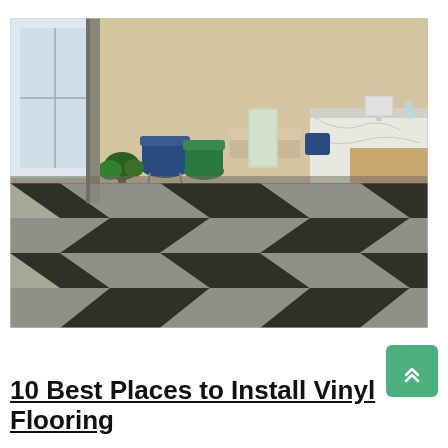[Figure (photo): Interior office lobby/reception area with patterned carpet tiles in a dark and light grey herringbone/chevron zigzag pattern. Features blue armchair, green chair, plants, a reception desk with marble front on the right, wood-paneled walls, and large windows.]
10 Best Places to Install Vinyl Flooring